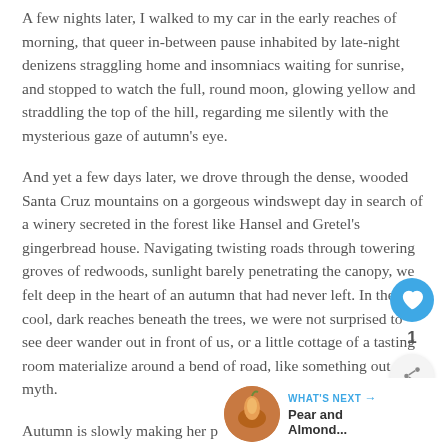A few nights later, I walked to my car in the early reaches of morning, that queer in-between pause inhabited by late-night denizens straggling home and insomniacs waiting for sunrise, and stopped to watch the full, round moon, glowing yellow and straddling the top of the hill, regarding me silently with the mysterious gaze of autumn's eye.
And yet a few days later, we drove through the dense, wooded Santa Cruz mountains on a gorgeous windswept day in search of a winery secreted in the forest like Hansel and Gretel's gingerbread house. Navigating twisting roads through towering groves of redwoods, sunlight barely penetrating the canopy, we felt deep in the heart of an autumn that had never left. In the cool, dark reaches beneath the trees, we were not surprised to see deer wander out in front of us, or a little cottage of a tasting room materialize around a bend of road, like something out of myth.
Autumn is slowly making her presence felt, she of d… crimson sunsets, fallen leaves floating in slate-grey puddles, air scented with smoke and chestnuts, nights of cider and down
[Figure (other): Heart/like button icon (blue circle with white heart), share icon (grey circle with share symbol), and like count '1']
[Figure (other): What's Next widget showing a circular thumbnail photo of a pear dish, label 'WHAT'S NEXT →', and title 'Pear and Almond...']